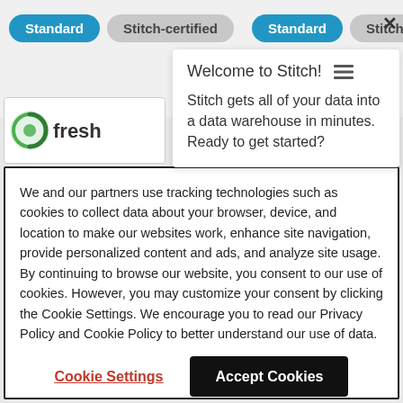[Figure (screenshot): Two rows of pill-shaped buttons: 'Standard' (blue) and 'Stitch-certified' (gray), repeated twice side by side. A close/X button appears top right.]
Welcome to Stitch!
Stitch gets all of your data into a data warehouse in minutes. Ready to get started?
[Figure (logo): Partial Freshdesk logo (green swirl icon with 'fresh' text)]
We and our partners use tracking technologies such as cookies to collect data about your browser, device, and location to make our websites work, enhance site navigation, provide personalized content and ads, and analyze site usage. By continuing to browse our website, you consent to our use of cookies. However, you may customize your consent by clicking the Cookie Settings. We encourage you to read our Privacy Policy and Cookie Policy to better understand our use of data.
Cookie Settings
Accept Cookies